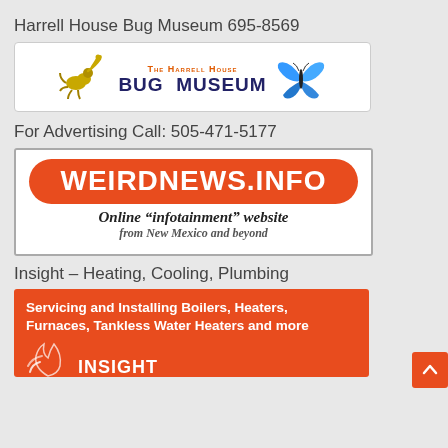Harrell House Bug Museum 695-8569
[Figure (logo): The Harrell House Bug Museum logo with scorpion on left, blue butterfly on right, text in center]
For Advertising Call: 505-471-5177
[Figure (logo): WeirdNews.Info advertisement - orange rounded banner with white text 'WeirdNews.Info', below: 'Online infotainment website from New Mexico and beyond']
Insight – Heating, Cooling, Plumbing
[Figure (logo): Insight Heating Cooling Plumbing ad - orange background with white bold text 'Servicing and Installing Boilers, Heaters, Furnaces, Tankless Water Heaters and more', with Insight logo at bottom]